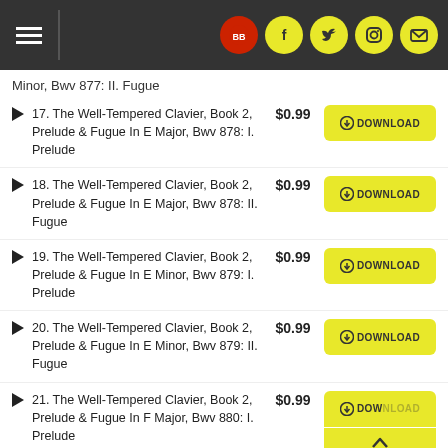Navigation header with hamburger menu and social icons
Minor, Bwv 877: II. Fugue
17. The Well-Tempered Clavier, Book 2, Prelude & Fugue In E Major, Bwv 878: I. Prelude — $0.99 DOWNLOAD
18. The Well-Tempered Clavier, Book 2, Prelude & Fugue In E Major, Bwv 878: II. Fugue — $0.99 DOWNLOAD
19. The Well-Tempered Clavier, Book 2, Prelude & Fugue In E Minor, Bwv 879: I. Prelude — $0.99 DOWNLOAD
20. The Well-Tempered Clavier, Book 2, Prelude & Fugue In E Minor, Bwv 879: II. Fugue — $0.99 DOWNLOAD
21. The Well-Tempered Clavier, Book 2, Prelude & Fugue In F Major, Bwv 880: I. Prelude — $0.99 DOWNLOAD
22. The Well-Tempered Clavier — $0.99 DOWNLOAD